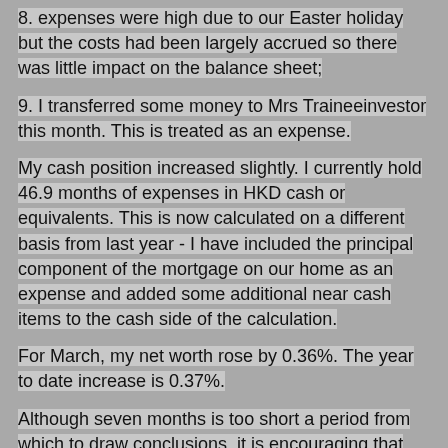8. expenses were high due to our Easter holiday but the costs had been largely accrued so there was little impact on the balance sheet;
9. I transferred some money to Mrs Traineeinvestor this month. This is treated as an expense.
My cash position increased slightly. I currently hold 46.9 months of expenses in HKD cash or equivalents. This is now calculated on a different basis from last year - I have included the principal component of the mortgage on our home as an expense and added some additional near cash items to the cash side of the calculation.
For March, my net worth rose by 0.36%. The year to date increase is 0.37%.
Although seven months is too short a period from which to draw conclusions, it is encouraging that (so far) returns from my investments are exceeding our living expenses (and the transfers to Mrs Traineeinvestor).